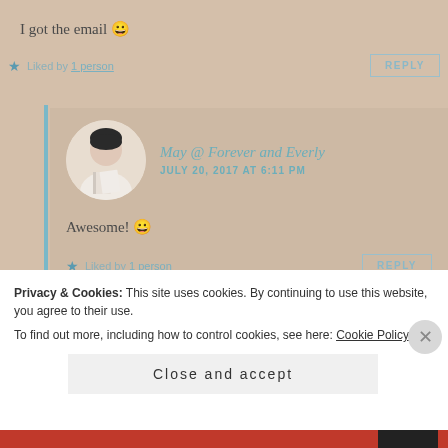I got the email 😀
Liked by 1 person
REPLY
May @ Forever and Everly
JULY 20, 2017 AT 6:11 PM
Awesome! 😀
Liked by 1 person
REPLY
Privacy & Cookies: This site uses cookies. By continuing to use this website, you agree to their use.
To find out more, including how to control cookies, see here: Cookie Policy
Close and accept